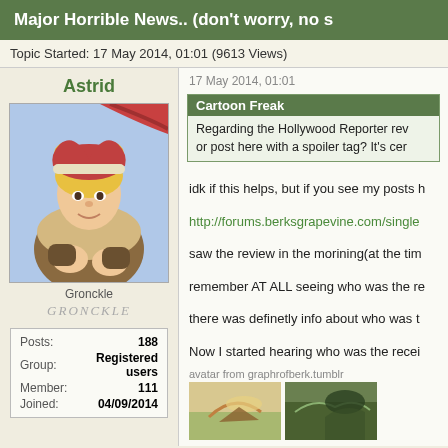Major Horrible News.. (don't worry, no s
Topic Started: 17 May 2014, 01:01 (9613 Views)
Astrid
[Figure (illustration): Profile avatar showing animated character Astrid from How to Train Your Dragon, blonde hair, Viking outfit]
Gronckle
GRONCKLE (runic style)
| Posts: | 188 |
| Group: | Registered users |
| Member: | 111 |
| Joined: | 04/09/2014 |
17 May 2014, 01:01
Cartoon Freak
Regarding the Hollywood Reporter rev or post here with a spoiler tag? It's cer
idk if this helps, but if you see my posts h http://forums.berksgrapevine.com/single saw the review in the morining(at the tim remember AT ALL seeing who was the re there was definetly info about who was t Now I started hearing who was the recei so unless the review changed after I read fishy (but it's still a possibility) (I'm sorry this is still hearsay but that's th
avatar from graphrofberk.tumblr
[Figure (photo): Two images at bottom showing dragons/scenes from How to Train Your Dragon]